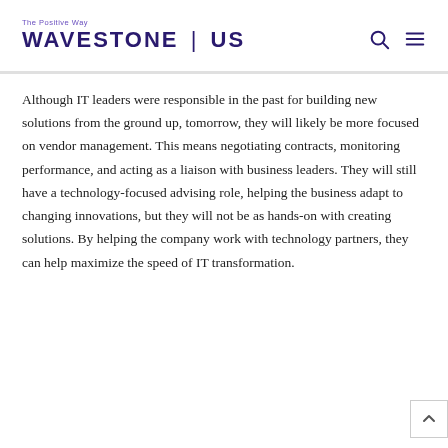The Positive Way — WAVESTONE | US
Although IT leaders were responsible in the past for building new solutions from the ground up, tomorrow, they will likely be more focused on vendor management. This means negotiating contracts, monitoring performance, and acting as a liaison with business leaders. They will still have a technology-focused advising role, helping the business adapt to changing innovations, but they will not be as hands-on with creating solutions. By helping the company work with technology partners, they can help maximize the speed of IT transformation.